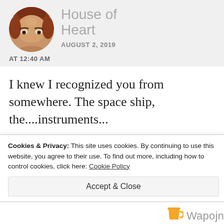[Figure (photo): Circular avatar photo of a person with reddish hair, showing forehead and eyes]
House of Heart
AUGUST 2, 2019
AT 12:40 AM
I knew I recognized you from somewhere. The space ship, the....instruments...
★ Like
Cookies & Privacy: This site uses cookies. By continuing to use this website, you agree to their use. To find out more, including how to control cookies, click here: Cookie Policy
Accept & Close
[Figure (logo): Wapojn brand logo with yellow cup icon and grey text]